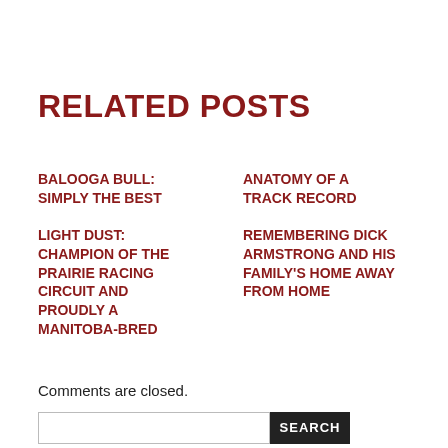RELATED POSTS
BALOOGA BULL: SIMPLY THE BEST
ANATOMY OF A TRACK RECORD
LIGHT DUST: CHAMPION OF THE PRAIRIE RACING CIRCUIT AND PROUDLY A MANITOBA-BRED
REMEMBERING DICK ARMSTRONG AND HIS FAMILY'S HOME AWAY FROM HOME
Comments are closed.